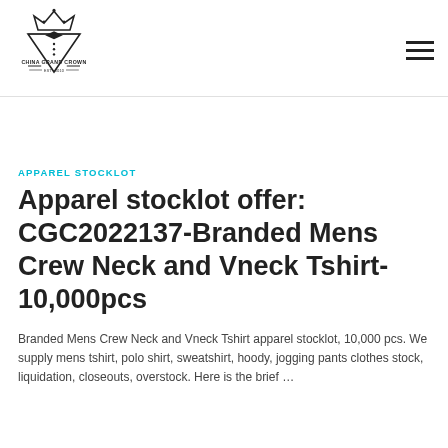[Figure (logo): China Grand Crown logo: crown icon, bow tie, triangle/V shape, text reads CHINA GRAND CROWN EST 2010]
APPAREL STOCKLOT
Apparel stocklot offer: CGC2022137-Branded Mens Crew Neck and Vneck Tshirt-10,000pcs
Branded Mens Crew Neck and Vneck Tshirt apparel stocklot, 10,000 pcs. We supply mens tshirt, polo shirt, sweatshirt, hoody, jogging pants clothes stock, liquidation, closeouts, overstock. Here is the brief …